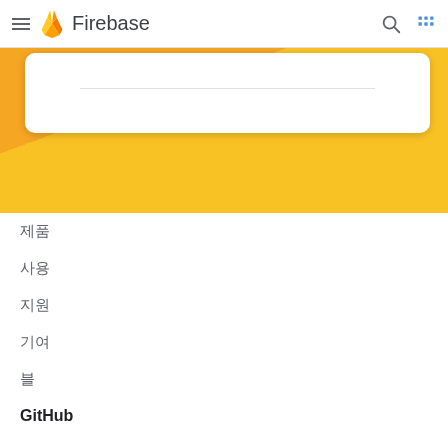Firebase
[Figure (screenshot): Firebase documentation website header with hamburger menu, Firebase flame logo, Firebase brand name, search icon, and grid icon. Below the header is a hero section with orange and yellow diagonal background and a white rounded card.]
제품
사용
지원
기여
블
GitHub
커뮤니티